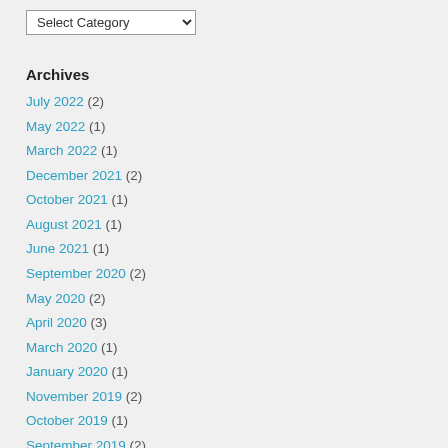Archives
July 2022 (2)
May 2022 (1)
March 2022 (1)
December 2021 (2)
October 2021 (1)
August 2021 (1)
June 2021 (1)
September 2020 (2)
May 2020 (2)
April 2020 (3)
March 2020 (1)
January 2020 (1)
November 2019 (2)
October 2019 (1)
September 2019 (2)
August 2019 (1)
July 2019 (1)